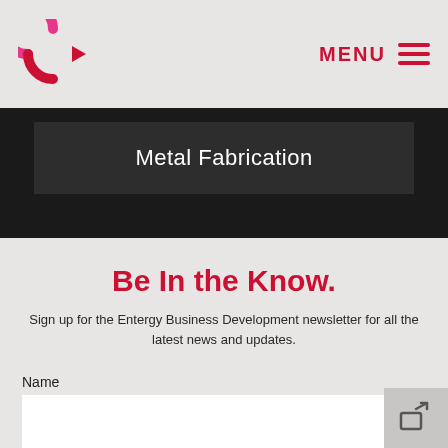MENU
Metal Fabrication
Be In the Know.
Sign up for the Entergy Business Development newsletter for all the latest news and updates.
Name
Email